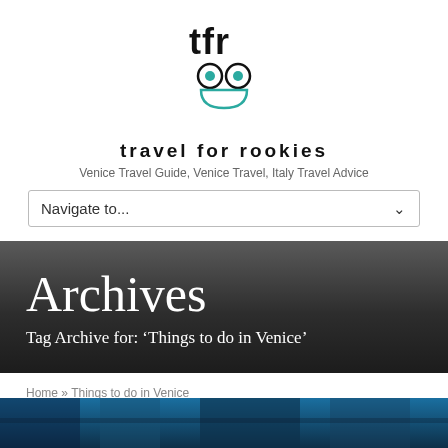[Figure (logo): Travel for Rookies logo: stylized 'tfr' text above owl-like face with teal glasses and teal bag/pocket shape]
travel for rookies
Venice Travel Guide, Venice Travel, Italy Travel Advice
Navigate to...
Archives
Tag Archive for: ‘Things to do in Venice’
Home » Things to do in Venice
[Figure (photo): Partial view of a photo at bottom of page showing blue-toned Venice or travel scene]